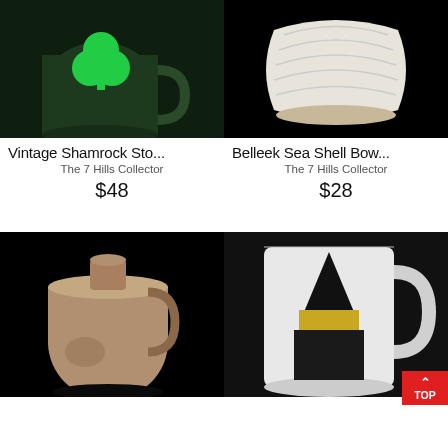[Figure (photo): Dark green ceramic mug with a bright green shamrock/clover embossed on the front, black background]
Vintage Shamrock Sto...
The 7 Hills Collector
$48
[Figure (photo): White Belleek porcelain sea shell shaped bowl with ridged detail, black background]
Belleek Sea Shell Bow...
The 7 Hills Collector
$28
[Figure (photo): Brown stoneware jug with handle, rounded bottom, black background]
[Figure (photo): White ceramic mug with gnome design in black and yellow/gold, black background]
TOP